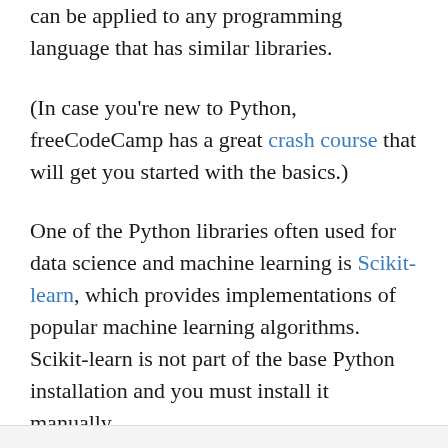can be applied to any programming language that has similar libraries.
(In case you're new to Python, freeCodeCamp has a great crash course that will get you started with the basics.)
One of the Python libraries often used for data science and machine learning is Scikit-learn, which provides implementations of popular machine learning algorithms. Scikit-learn is not part of the base Python installation and you must install it manually.
macOS and Linux come with Python preinstalled. To install the Scikit-learn library, type the following command in a terminal window: